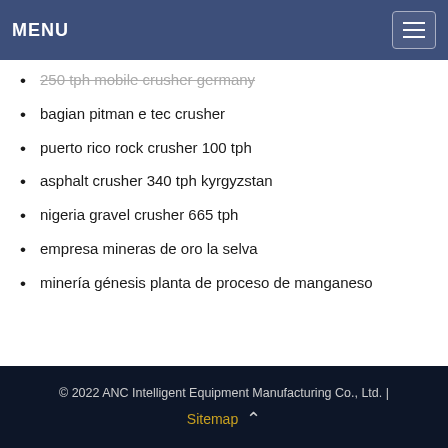MENU
250 tph mobile crusher germany
bagian pitman e tec crusher
puerto rico rock crusher 100 tph
asphalt crusher 340 tph kyrgyzstan
nigeria gravel crusher 665 tph
empresa mineras de oro la selva
minería génesis planta de proceso de manganeso
© 2022 ANC Intelligent Equipment Manufacturing Co., Ltd. | Sitemap